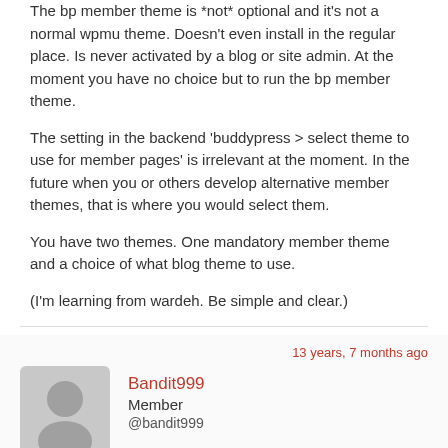The bp member theme is *not* optional and it’s not a normal wpmu theme. Doesn’t even install in the regular place. Is never activated by a blog or site admin. At the moment you have no choice but to run the bp member theme.
The setting in the backend ‘buddypress > select theme to use for member pages’ is irrelevant at the moment. In the future when you or others develop alternative member themes, that is where you would select them.
You have two themes. One mandatory member theme and a choice of what blog theme to use.
(I’m learning from wardeh. Be simple and clear.)
13 years, 7 months ago
Bandit999
Member
@bandit999
Many thanks for the explanations – I think I’ve got it :)